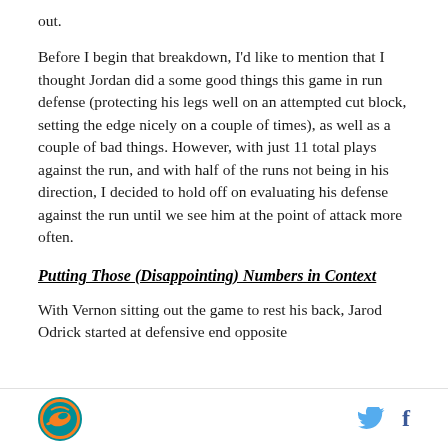out.
Before I begin that breakdown, I'd like to mention that I thought Jordan did a some good things this game in run defense (protecting his legs well on an attempted cut block, setting the edge nicely on a couple of times), as well as a couple of bad things. However, with just 11 total plays against the run, and with half of the runs not being in his direction, I decided to hold off on evaluating his defense against the run until we see him at the point of attack more often.
Putting Those (Disappointing) Numbers in Context
With Vernon sitting out the game to rest his back, Jarod Odrick started at defensive end opposite
Miami Dolphins logo | Twitter icon | Facebook icon